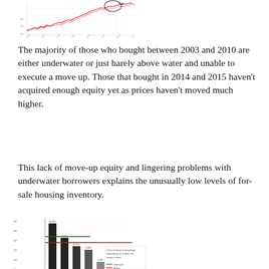[Figure (continuous-plot): Line chart showing housing price trends over time with a handwritten circle annotation and upward trending lines in red and pink on a white background with grid lines]
The majority of those who bought between 2003 and 2010 are either underwater or just barely above water and unable to execute a move up. Those that bought in 2014 and 2015 haven't acquired enough equity yet as prices haven't moved much higher.
This lack of move-up equity and lingering problems with underwater borrowers explains the unusually low levels of for-sale housing inventory.
[Figure (bar-chart): Bar chart showing Loan-to-Value Ratio Comparison with dark bars of varying heights representing different loan-to-value categories, with colored markers at bottom and red/green lines across the chart, small text legend on right side]
While reflating the housing bubble has done much to alleviate the plight of underwater borrowers, it's